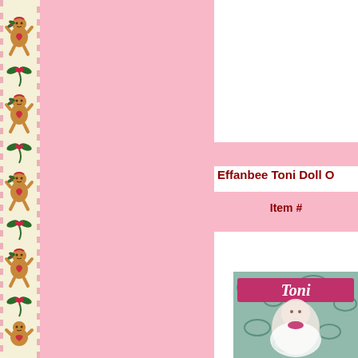[Figure (illustration): Left decorative border strip with gingerbread man pattern on cream background with pink checkered edges and green holly/floral accents]
[Figure (illustration): Pink center panel background]
Effanbee Toni Doll O
Item #
[Figure (photo): Effanbee Toni doll in box with pink Toni logo banner, doll appears to be a white/blonde doll in packaging with blue floral background]